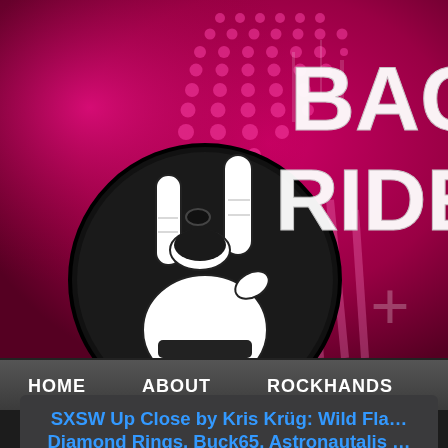[Figure (logo): Website banner/header for a music blog called 'Backseat Rider' (partially visible as 'BAC RIDE'). Features a rock hand gesture (devil horns) illustration inside a circular logo on a magenta/pink and dark background with halftone dots and distressed text effects.]
HOME   ABOUT   ROCKHANDS   FRIENDS
SXSW Up Close by Kris Krüg: Wild Fla… Diamond Rings, Buck65, Astronautalis … More Awesome
Posted in Generally Rocktacular